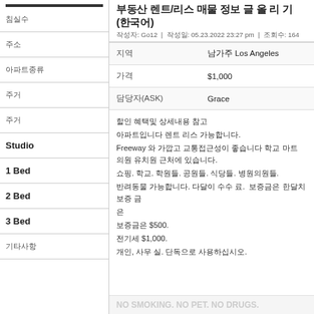부동산 렌트/리스 매물 정보 글 올 리 기 (한국어)
작성자: Go12 | 작성일: 05.23.2022 23:27 pm | 조회수: 164
| 항목 | 내용 |
| --- | --- |
| 지역 | 남가주 Los Angeles |
| 가격 | $1,000 |
| 담당자(ASK) | Grace |
할인 혜택및 상세내용 참고
아파트입니다 렌트 리스 가능합니다.
Freeway 와 가깝고 교통접근성이 좋습니다 학교 마트 의원 유치원 근처에 있습니다.
쇼핑. 학교. 학원들. 공원들. 식당들. 병원의원들.
반려동물 가능합니다. 다달이 수수 료.  보증금은 한달치 보증 금
은
보증금은 $500.
전기세 $1,000.
개인, 사무 실. 단독으로 사용하십시오.
NO SMOKING. NO PET. NO DRUGS.
침실수
주소
아파트종류
주거
주거
Studio
1 Bed
2 Bed
3 Bed
기타사항